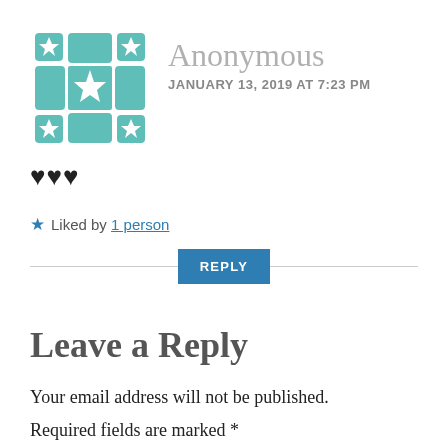[Figure (illustration): Anonymous user avatar: teal/green geometric cross-and-star pattern icon]
Anonymous
JANUARY 13, 2019 AT 7:23 PM
♥♥♥
★ Liked by 1 person
REPLY
Leave a Reply
Your email address will not be published.
Required fields are marked *